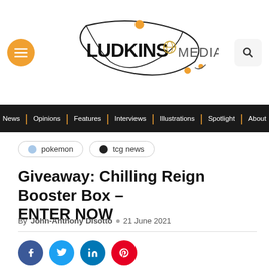[Figure (logo): Ludkins Media logo with orbital arcs and stylized text]
News | Opinions | Features | Interviews | Illustrations | Spotlight | About
pokemon
tcg news
Giveaway: Chilling Reign Booster Box – ENTER NOW
By John-Anthony Disotto  21 June 2021